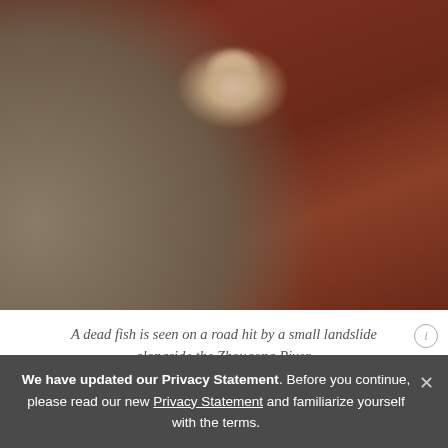[Figure (photo): A dead fish seen on a reddish-brown muddy road hit by a small landslide alongside the Zhougong River. Small rocks/pebbles visible in lower left. Tire tracks visible in mud.]
A dead fish is seen on a road hit by a small landslide alongside the Zhougong River.
"The fish here now taste terrible, and are fit only for dogs," he said, pointing to three silver carp he had caught after they were swept down river by flood waters
We have updated our Privacy Statement. Before you continue, please read our new Privacy Statement and familiarize yourself with the terms.